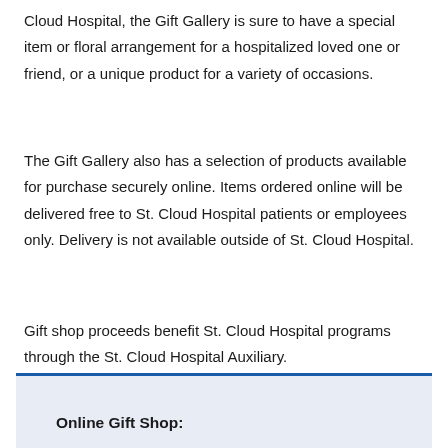Cloud Hospital, the Gift Gallery is sure to have a special item or floral arrangement for a hospitalized loved one or friend, or a unique product for a variety of occasions.
The Gift Gallery also has a selection of products available for purchase securely online. Items ordered online will be delivered free to St. Cloud Hospital patients or employees only. Delivery is not available outside of St. Cloud Hospital.
Gift shop proceeds benefit St. Cloud Hospital programs through the St. Cloud Hospital Auxiliary.
Online Gift Shop: